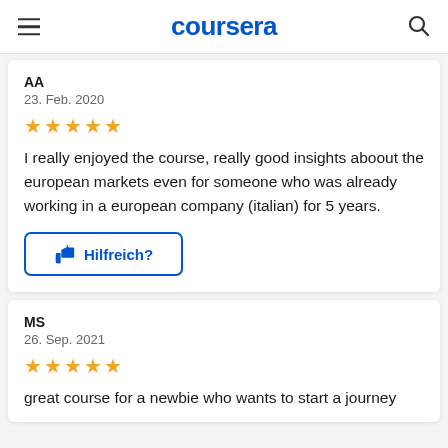coursera
AA
23. Feb. 2020
[Figure (other): 5 gold stars rating]
I really enjoyed the course, really good insights aboout the european markets even for someone who was already working in a european company (italian) for 5 years.
Hilfreich?
MS
26. Sep. 2021
[Figure (other): 5 gold stars rating]
great course for a newbie who wants to start a journey